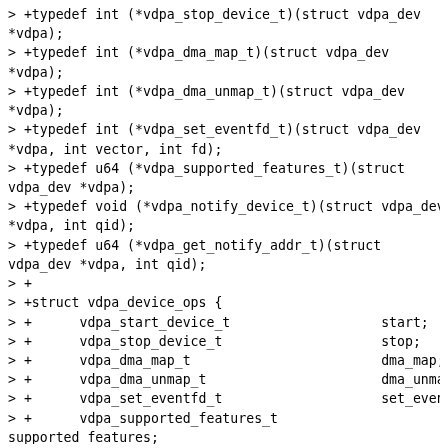> +typedef int (*vdpa_stop_device_t)(struct vdpa_dev
*vdpa);
> +typedef int (*vdpa_dma_map_t)(struct vdpa_dev
*vdpa);
> +typedef int (*vdpa_dma_unmap_t)(struct vdpa_dev
*vdpa);
> +typedef int (*vdpa_set_eventfd_t)(struct vdpa_dev
*vdpa, int vector, int fd);
> +typedef u64 (*vdpa_supported_features_t)(struct
vdpa_dev *vdpa);
> +typedef void (*vdpa_notify_device_t)(struct vdpa_dev
*vdpa, int qid);
> +typedef u64 (*vdpa_get_notify_addr_t)(struct
vdpa_dev *vdpa, int qid);
> +
> +struct vdpa_device_ops {
> +      vdpa_start_device_t                   start;
> +      vdpa_stop_device_t                    stop;
> +      vdpa_dma_map_t                        dma_map;
> +      vdpa_dma_unmap_t                      dma_unmap;
> +      vdpa_set_eventfd_t                    set_eventfd;
> +      vdpa_supported_features_t
supported_features;
> +      vdpa_notify_device_t                  notify;
> +      vdpa_get_notify_addr_t
get_notify_addr;
> +};
> +
> +struct vdpa_vring_info {
> +      u64 desc_user_addr;